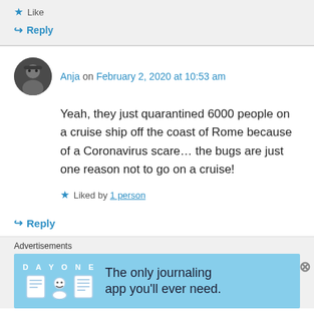Like
Reply
Anja on February 2, 2020 at 10:53 am
Yeah, they just quarantined 6000 people on a cruise ship off the coast of Rome because of a Coronavirus scare… the bugs are just one reason not to go on a cruise!
Liked by 1 person
Reply
Advertisements
[Figure (illustration): DAY ONE journaling app advertisement banner with light blue background showing book and person icons and text 'The only journaling app you'll ever need.']